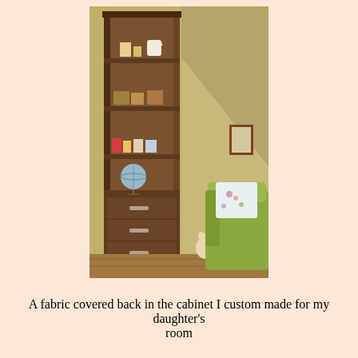[Figure (photo): A tall narrow custom-built dark walnut bookcase/cabinet with open shelves displaying decorative items (a globe, small ornaments, toys) and three drawers with metal pulls at the bottom. The cabinet is set against a yellow-green wall under a sloped ceiling. A green upholstered armchair with a floral pillow is visible to the right.]
A fabric covered back in the cabinet I custom made for my daughter's room